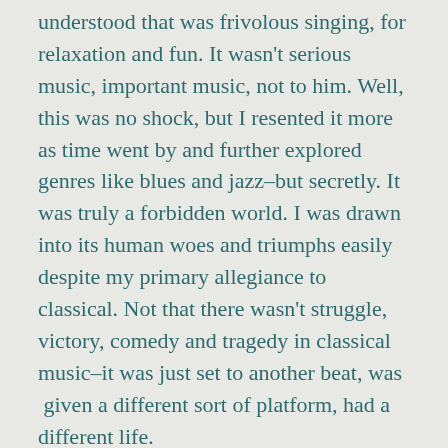understood that was frivolous singing, for relaxation and fun. It wasn't serious music, important music, not to him. Well, this was no shock, but I resented it more as time went by and further explored genres like blues and jazz–but secretly. It was truly a forbidden world. I was drawn into its human woes and triumphs easily despite my primary allegiance to classical. Not that there wasn't struggle, victory, comedy and tragedy in classical music–it was just set to another beat, was  given a different sort of platform, had a different life.
It was clear to me that being a fine classical musician was my father's true calling, and also the teaching of it, the nurturing of the potential of each student. He did what he